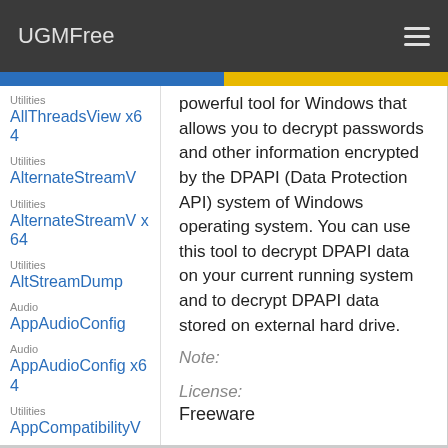UGMFree
Utilities
AllThreadsView x64
Utilities
AlternateStreamV
Utilities
AlternateStreamV x64
Utilities
AltStreamDump
Audio
AppAudioConfig
Audio
AppAudioConfig x64
Utilities
AppCompatibilityV
Utilities
AppCompatibilityV x64
Utilities
AppCrashView
powerful tool for Windows that allows you to decrypt passwords and other information encrypted by the DPAPI (Data Protection API) system of Windows operating system. You can use this tool to decrypt DPAPI data on your current running system and to decrypt DPAPI data stored on external hard drive.
Note:
License:
Freeware